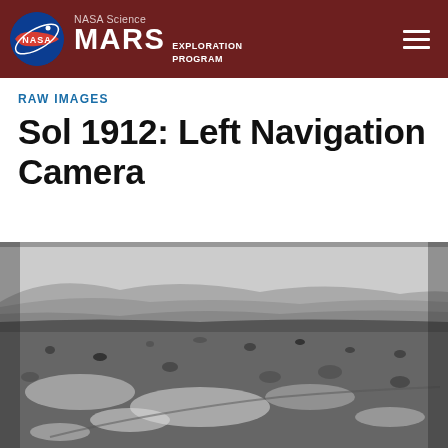NASA Science MARS EXPLORATION PROGRAM
RAW IMAGES
Sol 1912: Left Navigation Camera
[Figure (photo): Black and white raw navigation camera image from Mars showing rocky terrain, scattered stones, light-colored patches on the ground, and hilly landscape in the background. Taken by the Left Navigation Camera on Sol 1912.]